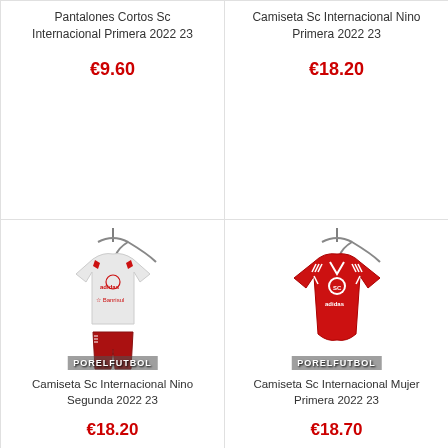Pantalones Cortos Sc Internacional Primera 2022 23
€9.60
Camiseta Sc Internacional Nino Primera 2022 23
€18.20
[Figure (photo): White and red children football kit (jersey and shorts) on a hanger with Banrisul sponsor, Adidas brand, SC Internacional club, with PORELFUTBOL watermark]
Camiseta Sc Internacional Nino Segunda 2022 23
€18.20
[Figure (photo): Red women's football jersey on a hanger with Adidas stripes and SC Internacional crest, with PORELFUTBOL watermark]
Camiseta Sc Internacional Mujer Primera 2022 23
€18.70